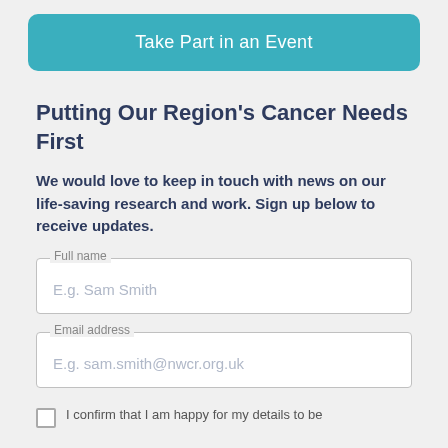Take Part in an Event
Putting Our Region's Cancer Needs First
We would love to keep in touch with news on our life-saving research and work. Sign up below to receive updates.
Full name
E.g. Sam Smith
Email address
E.g. sam.smith@nwcr.org.uk
I confirm that I am happy for my details to be